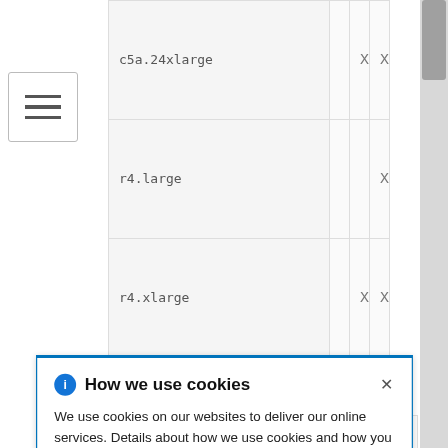| Instance |  | X | X |
| --- | --- | --- | --- |
| c5a.24xlarge |  | X | X |
| r4.large |  |  | X |
| r4.xlarge |  | X | X |
| r4.2xlarge |  | X | X |
| r4.4xlarge |  | X | X |
|  |  |  | X |
|  |  |  | X |
|  |  |  | X |
|  |  |  | X |
| r5.2xlarge |  | X | X |
How we use cookies

We use cookies on our websites to deliver our online services. Details about how we use cookies and how you may disable them are set out in our Privacy Statement. By using this website you agree to our use of cookies.